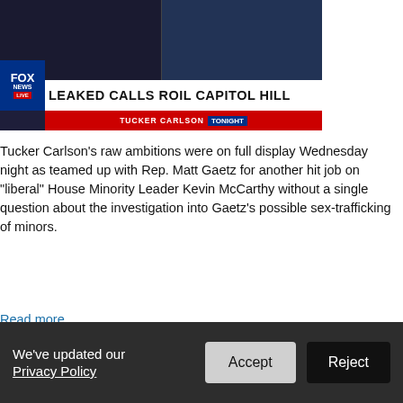[Figure (screenshot): Fox News TV screenshot showing two men on set with chyron 'LEAKED CALLS ROIL CAPITOL HILL' and Tucker Carlson Tonight banner]
Tucker Carlson's raw ambitions were on full display Wednesday night as teamed up with Rep. Matt Gaetz for another hit job on “liberal” House Minority Leader Kevin McCarthy without a single question about the investigation into Gaetz’s possible sex-trafficking of minors.
Read more
2 reactions   Share
Tucker Carlson Calls Kevin McCarthy ‘Puppet Of The Democratic Party’
POSTED BY ELLEN · APRIL 28, 2022 1:03 PM · 3 REACTIONS
We’ve updated our Privacy Policy   Accept   Reject